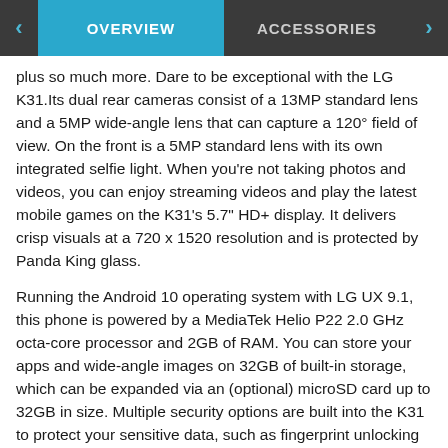OVERVIEW | ACCESSORIES
plus so much more. Dare to be exceptional with the LG K31.Its dual rear cameras consist of a 13MP standard lens and a 5MP wide-angle lens that can capture a 120° field of view. On the front is a 5MP standard lens with its own integrated selfie light. When you're not taking photos and videos, you can enjoy streaming videos and play the latest mobile games on the K31's 5.7" HD+ display. It delivers crisp visuals at a 720 x 1520 resolution and is protected by Panda King glass.
Running the Android 10 operating system with LG UX 9.1, this phone is powered by a MediaTek Helio P22 2.0 GHz octa-core processor and 2GB of RAM. You can store your apps and wide-angle images on 32GB of built-in storage, which can be expanded via an (optional) microSD card up to 32GB in size. Multiple security options are built into the K31 to protect your sensitive data, such as fingerprint unlocking of the phone, and